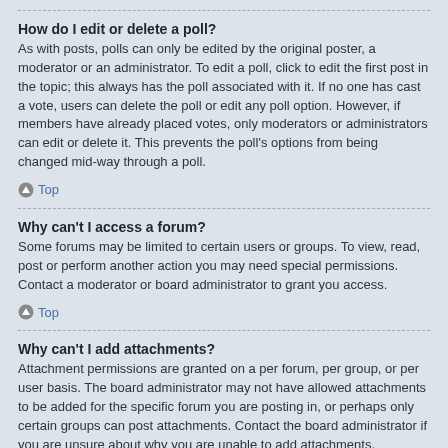How do I edit or delete a poll?
As with posts, polls can only be edited by the original poster, a moderator or an administrator. To edit a poll, click to edit the first post in the topic; this always has the poll associated with it. If no one has cast a vote, users can delete the poll or edit any poll option. However, if members have already placed votes, only moderators or administrators can edit or delete it. This prevents the poll's options from being changed mid-way through a poll.
Top
Why can't I access a forum?
Some forums may be limited to certain users or groups. To view, read, post or perform another action you may need special permissions. Contact a moderator or board administrator to grant you access.
Top
Why can't I add attachments?
Attachment permissions are granted on a per forum, per group, or per user basis. The board administrator may not have allowed attachments to be added for the specific forum you are posting in, or perhaps only certain groups can post attachments. Contact the board administrator if you are unsure about why you are unable to add attachments.
Top